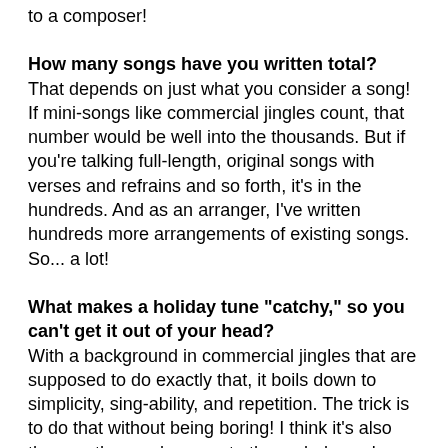to a composer!
How many songs have you written total?
That depends on just what you consider a song! If mini-songs like commercial jingles count, that number would be well into the thousands. But if you're talking full-length, original songs with verses and refrains and so forth, it's in the hundreds. And as an arranger, I've written hundreds more arrangements of existing songs. So... a lot!
What makes a holiday tune "catchy," so you can't get it out of your head?
With a background in commercial jingles that are supposed to do exactly that, it boils down to simplicity, sing-ability, and repetition. The trick is to do that without being boring! I think it's also the way the words marry to the melody, and hopefully a little different sort of twist that sets the tune apart and gives it real identity.
For "Christmastime in Charlotte," my hope is that by the